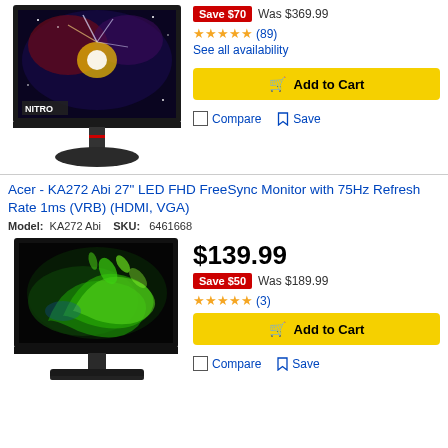[Figure (photo): Acer Nitro gaming monitor product image with space/galaxy display theme and NITRO label]
Save $70  Was $369.99
★★★★★ (89)
See all availability
Add to Cart
Compare   Save
Acer - KA272 Abi 27" LED FHD FreeSync Monitor with 75Hz Refresh Rate 1ms (VRB) (HDMI, VGA)
Model: KA272 Abi  SKU: 6461668
[Figure (photo): Acer KA272 Abi monitor product image with green splash design on screen]
$139.99
Save $50  Was $189.99
★★★★★ (3)
Add to Cart
Compare   Save